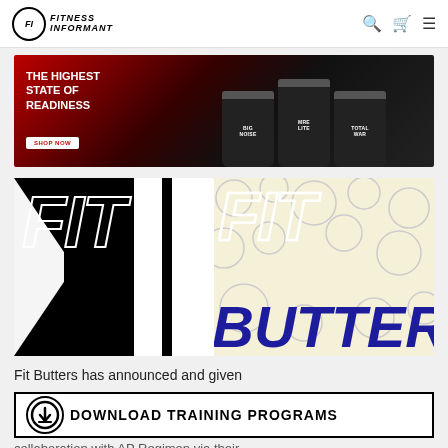FITNESS INFORMANT
[Figure (photo): Advertisement banner for fitness supplements including Big Noise, MRE Lite, and Total War with text 'THE HIGHEST STATE OF READINESS' and a SHOP NOW button]
[Figure (logo): Fit Butters brand image with bold black geometric shapes on left and 'FIT BUTTERS' text in italic navy on cream background with decorative circle pattern]
Fit Butters has announced and given
[Figure (infographic): Download Training Programs banner with circular download icon and bold black text 'DOWNLOAD TRAINING PROGRAMS']
collaboration with AP Regimen via their